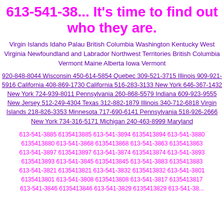613-541-38... It's time to find out who they are.
Virgin Islands Idaho Palau British Columbia Washington Kentucky West Virginia Newfoundland and Labrador Northwest Territories British Columbia Vermont Maine Alberta Iowa Vermont
920-848-8044 Wisconsin 450-614-5854 Quebec 309-521-3715 Illinois 909-921-5916 California 408-869-1730 California 516-283-3133 New York 646-367-1432 New York 724-939-8011 Pennsylvania 260-868-5579 Indiana 609-923-9555 New Jersey 512-249-4304 Texas 312-882-1879 Illinois 340-712-6818 Virgin Islands 218-826-3353 Minnesota 717-690-6141 Pennsylvania 518-926-2666 New York 734-316-5171 Michigan 240-463-8999 Maryland
613-541-3885 6135413885 613-541-3894 6135413894 613-541-3880 6135413880 613-541-3868 6135413868 613-541-3863 6135413863 613-541-3897 6135413897 613-541-3874 6135413874 613-541-3893 6135413893 613-541-3845 6135413845 613-541-3883 6135413883 613-541-3821 6135413821 613-541-3832 6135413832 613-541-3801 6135413801 613-541-3808 6135413808 613-541-3817 6135413817 613-541-3846 6135413846 613-541-3829 6135413829 613-541-...